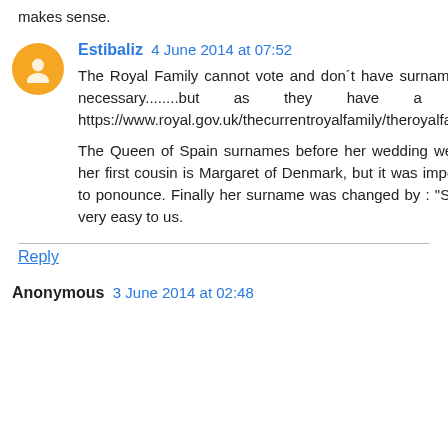makes sense.
Estibaliz  4 June 2014 at 07:52
The Royal Family cannot vote and don´t have surname, they use Windsor if it necessary........but as they have a title of nobility.. https://www.royal.gov.uk/thecurrentroyalfamily/theroyalfamilyname/overview.aspx

The Queen of Spain surnames before her wedding were all German, because her first cousin is Margaret of Denmark, but it was imposible to people in Spain to ponounce. Finally her surname was changed by : "Sofia de Grecia", which is very easy to us.
Reply
Anonymous  3 June 2014 at 02:48